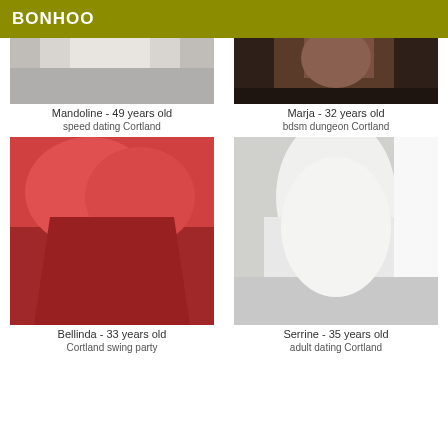BONHOO
[Figure (photo): Partial photo of Mandoline, cropped top portion]
Mandoline - 49 years old
[Figure (photo): Partial photo of Marja, cropped top portion with dark background]
Marja - 32 years old
speed dating Cortland
bdsm dungeon Cortland
[Figure (photo): Photo of Bellinda in red top]
Bellinda - 33 years old
[Figure (photo): Photo of Serrine in white top]
Serrine - 35 years old
Cortland swing party
adult dating Cortland